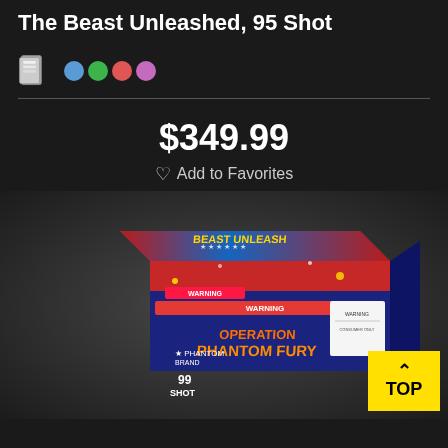The Beast Unleashed, 95 Shot
$349.99
Add to Favorites
[Figure (photo): Product photo of Operation Phantom Fury 99 Shot fireworks box with American flag design, WARNING labels, and colorful fireworks imagery.]